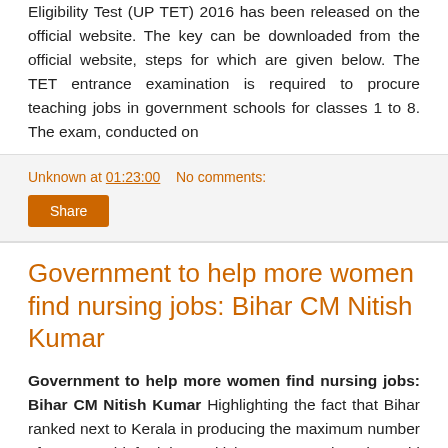Eligibility Test (UP TET) 2016 has been released on the official website. The key can be downloaded from the official website, steps for which are given below. The TET entrance examination is required to procure teaching jobs in government schools for classes 1 to 8. The exam, conducted on
Unknown at 01:23:00    No comments:
Share
Government to help more women find nursing jobs: Bihar CM Nitish Kumar
Government to help more women find nursing jobs: Bihar CM Nitish Kumar Highlighting the fact that Bihar ranked next to Kerala in producing the maximum number of nurses, Chief Minister Nitish Kumar on Thursday said his government is strengthening infrastructure at the grassroot level so that more women get nursing jobs. Every district could have a GNM (General Nursing and Midwifery)...